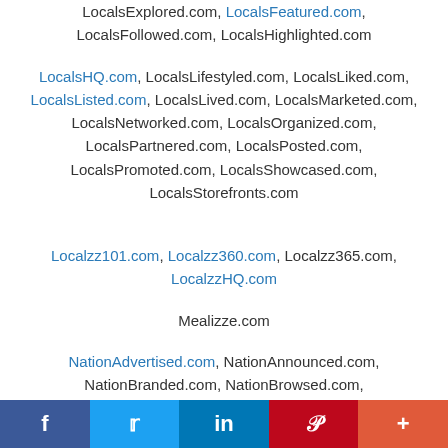LocalsExplored.com, LocalsFeatured.com, LocalsFollowed.com, LocalsHighlighted.com
LocalsHQ.com, LocalsLifestyled.com, LocalsLiked.com, LocalsListed.com, LocalsLived.com, LocalsMarketed.com, LocalsNetworked.com, LocalsOrganized.com, LocalsPartnered.com, LocalsPosted.com, LocalsPromoted.com, LocalsShowcased.com, LocalsStorefronts.com
Localzz101.com, Localzz360.com, Localzz365.com, LocalzzHQ.com
Mealizze.com
NationAdvertised.com, NationAnnounced.com, NationBranded.com, NationBrowsed.com, NationBundled.com, NationCategories.com